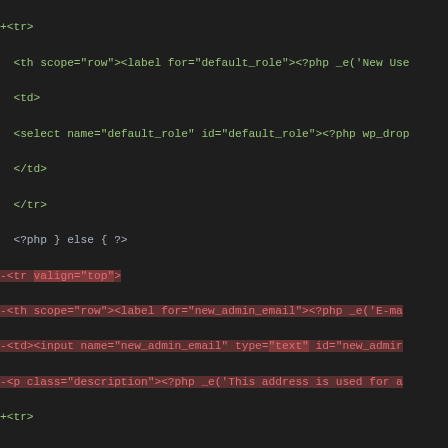[Figure (screenshot): A code diff view showing PHP/HTML code changes. Lines prefixed with + are additions (green), lines prefixed with - are deletions (red). Some lines have highlighted backgrounds indicating specific changes. The diff shows modifications to WordPress admin email settings form fields, changing input type from 'text' to 'email' and adding an id attribute to a paragraph element. The bottom shows a unified diff header in magenta.]